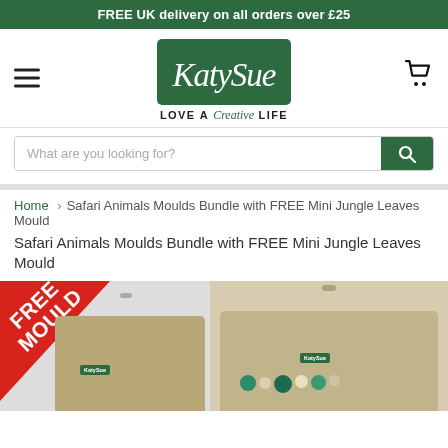FREE UK delivery on all orders over £25
[Figure (logo): Katy Sue logo — green rounded rectangle with white cursive text 'KatySue', tagline 'LOVE A Creative LIFE']
[Figure (other): Search bar with placeholder 'What are you looking for?' and green search button]
Home > Safari Animals Moulds Bundle with FREE Mini Jungle Leaves Mould
[Figure (photo): Product image showing Safari Animals Moulds Bundle packaging with a red FREE MOULD triangular badge in the top-left corner, and a second product pack to the right showing jungle/safari themed decorations]